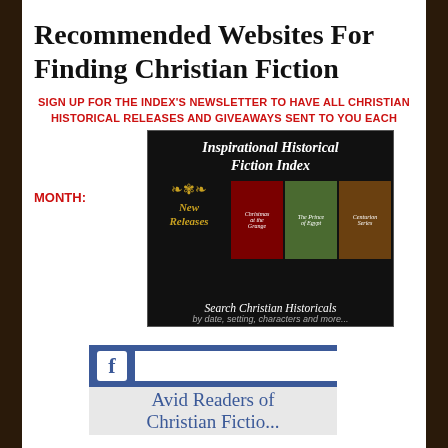Recommended Websites For Finding Christian Fiction
SIGN UP FOR THE INDEX'S NEWSLETTER TO HAVE ALL CHRISTIAN HISTORICAL RELEASES AND GIVEAWAYS SENT TO YOU EACH
MONTH:
[Figure (screenshot): Inspirational Historical Fiction Index banner showing book covers and 'Search Christian Historicals by date, setting, characters and more...']
[Figure (screenshot): Facebook group widget showing Facebook logo and text 'Avid Readers of Christian Fiction']